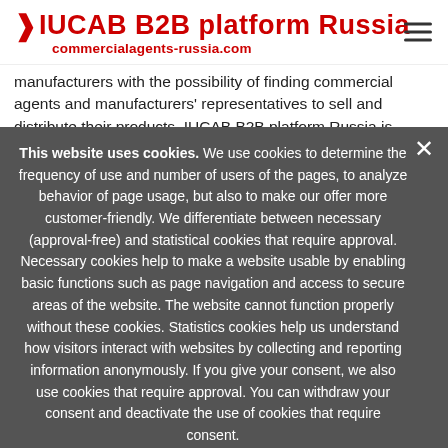IUCAB B2B platform Russia — commercialagents-russia.com
manufacturers with the possibility of finding commercial agents and manufacturers' representatives to sell and distribute their products. IUCAB B2B platform Russia is
This website uses cookies. We use cookies to determine the frequency of use and number of users of the pages, to analyze behavior of page usage, but also to make our offer more customer-friendly. We differentiate between necessary (approval-free) and statistical cookies that require approval. Necessary cookies help to make a website usable by enabling basic functions such as page navigation and access to secure areas of the website. The website cannot function properly without these cookies. Statistics cookies help us understand how visitors interact with websites by collecting and reporting information anonymously. If you give your consent, we also use cookies that require approval. You can withdraw your consent and deactivate the use of cookies that require consent.
I accept cookies | I refuse cookies